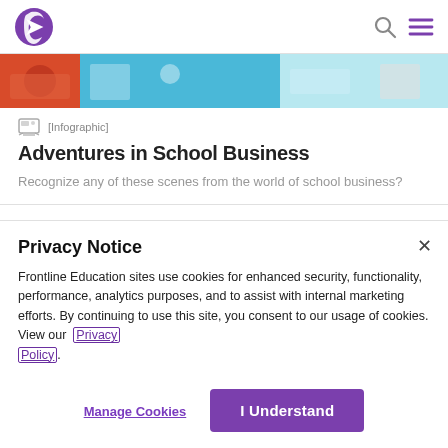Frontline Education — Logo, Search, Menu
[Figure (illustration): Colorful infographic illustration strip showing school business scenes with cartoon characters]
[Infographic]
Adventures in School Business
Recognize any of these scenes from the world of school business?
Privacy Notice
Frontline Education sites use cookies for enhanced security, functionality, performance, analytics purposes, and to assist with internal marketing efforts. By continuing to use this site, you consent to our usage of cookies. View our Privacy Policy.
Manage Cookies
I Understand